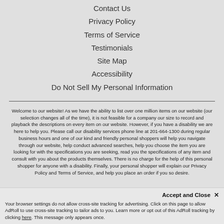Contact Us
Privacy Policy
Terms of Service
Testimonials
Site Map
Accessibility
Do Not Sell My Personal Information
Welcome to our website! As we have the ability to list over one million items on our website (our selection changes all of the time), it is not feasible for a company our size to record and playback the descriptions on every item on our website. However, if you have a disability we are here to help you. Please call our disability services phone line at 201-664-1300 during regular business hours and one of our kind and friendly personal shoppers will help you navigate through our website, help conduct advanced searches, help you choose the item you are looking for with the specifications you are seeking, read you the specifications of any item and consult with you about the products themselves. There is no charge for the help of this personal shopper for anyone with a disability. Finally, your personal shopper will explain our Privacy Policy and Terms of Service, and help you place an order if you so desire.
Accept and Close ✕
Your browser settings do not allow cross-site tracking for advertising. Click on this page to allow AdRoll to use cross-site tracking to tailor ads to you. Learn more or opt out of this AdRoll tracking by clicking here. This message only appears once.